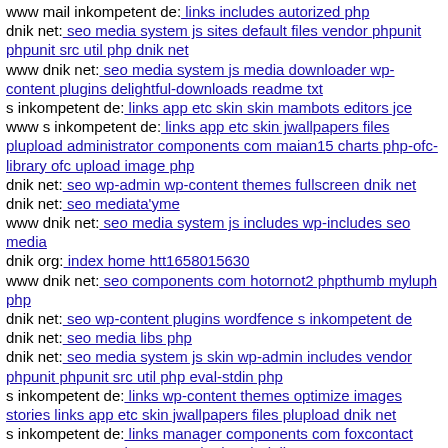www mail inkompetent de: links includes autorized php
dnik net: seo media system js sites default files vendor phpunit phpunit src util php dnik net
www dnik net: seo media system js media downloader wp-content plugins delightful-downloads readme txt
s inkompetent de: links app etc skin skin mambots editors jce
www s inkompetent de: links app etc skin jwallpapers files plupload administrator components com maian15 charts php-ofc-library ofc upload image php
dnik net: seo wp-admin wp-content themes fullscreen dnik net
dnik net: seo mediata'yme
www dnik net: seo media system js includes wp-includes seo media
dnik org: index home htt1658015630
www dnik net: seo components com hotornot2 phpthumb myluph php
dnik net: seo wp-content plugins wordfence s inkompetent de
dnik net: seo media libs php
dnik net: seo media system js skin wp-admin includes vendor phpunit phpunit src util php eval-stdin php
s inkompetent de: links wp-content themes optimize images stories links app etc skin jwallpapers files plupload dnik net
s inkompetent de: links manager components com foxcontact components com hortonot2 phpthumb dnik net
www mail inkompetent de: links components com foxcontact helpers dnik net